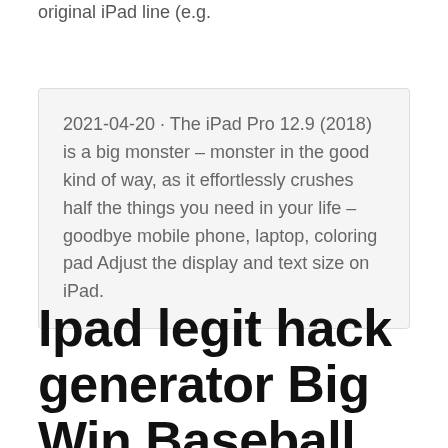original iPad line (e.g.
2021-04-20 · The iPad Pro 12.9 (2018) is a big monster – monster in the good kind of way, as it effortlessly crushes half the things you need in your life – goodbye mobile phone, laptop, coloring pad Adjust the display and text size on iPad.
Ipad legit hack generator Big Win Baseball 2018 Role Playing